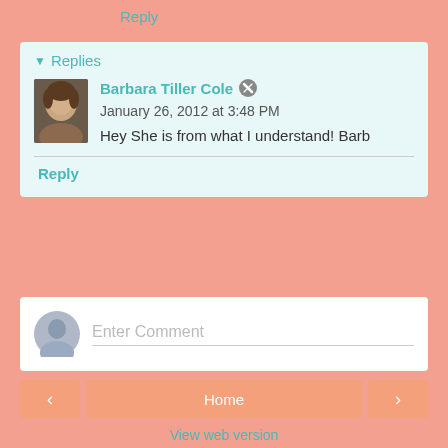Reply
▼ Replies
Barbara Tiller Cole [edit icon] January 26, 2012 at 3:48 PM
Hey She is from what I understand! Barb
Reply
Enter Comment
Home
View web version
About Me